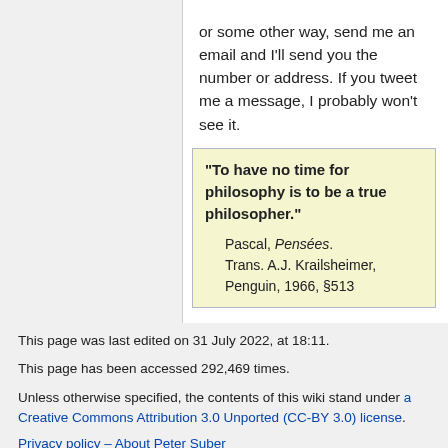or some other way, send me an email and I'll send you the number or address. If you tweet me a message, I probably won't see it.
"To have no time for philosophy is to be a true philosopher." Pascal, Pensées. Trans. A.J. Krailsheimer, Penguin, 1966, §513
This page was last edited on 31 July 2022, at 18:11.
This page has been accessed 292,469 times.
Unless otherwise specified, the contents of this wiki stand under a Creative Commons Attribution 3.0 Unported (CC-BY 3.0) license.
Privacy policy – About Peter Suber